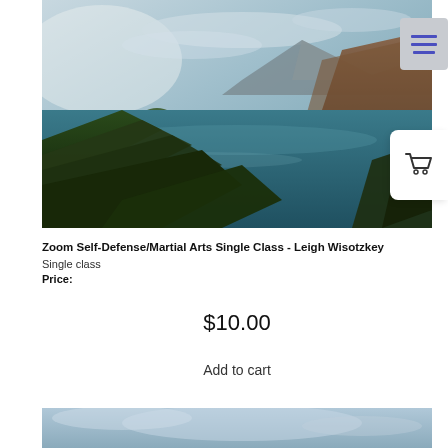[Figure (photo): Landscape photo of a scenic lake surrounded by mountains and forested hills under a partly cloudy sky]
Zoom Self-Defense/Martial Arts Single Class - Leigh Wisotzkey
Single class
Price:
$10.00
Add to cart
[Figure (photo): Partial bottom image showing clouds and sky, likely another course landscape thumbnail]